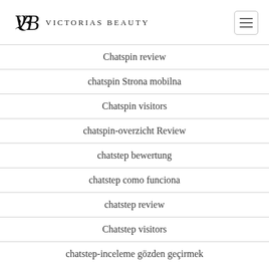Victorias Beauty
Chatspin review
chatspin Strona mobilna
Chatspin visitors
chatspin-overzicht Review
chatstep bewertung
chatstep como funciona
chatstep review
Chatstep visitors
chatstep-inceleme gözden geçirmek